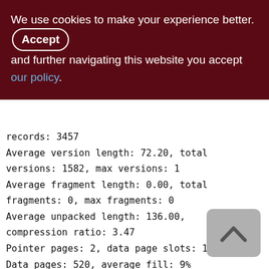We use cookies to make your experience better. By accepting and further navigating this website you accept our policy.
records: 3457
Average version length: 72.20, total versions: 1582, max versions: 1
Average fragment length: 0.00, total fragments: 0, max fragments: 0
Average unpacked length: 136.00, compression ratio: 3.47
Pointer pages: 2, data page slots: 1144
Data pages: 520, average fill: 9%
Primary pages: 517, secondary pages: 3 swept pages: 412
Empty pages: 311, full pages: 10
Fill distribution: